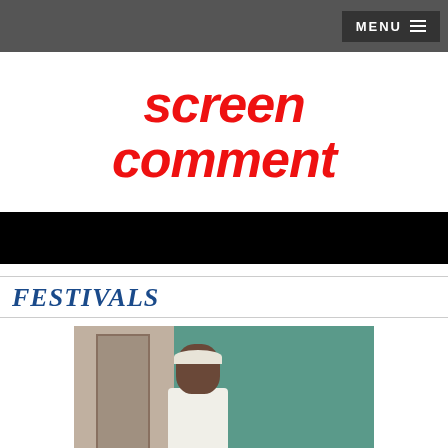MENU
screen comment
[Figure (photo): Photograph of two women, one with a white headband in lighter clothing and one with dark hair looking down, in front of a teal/green chalkboard background]
FESTIVALS